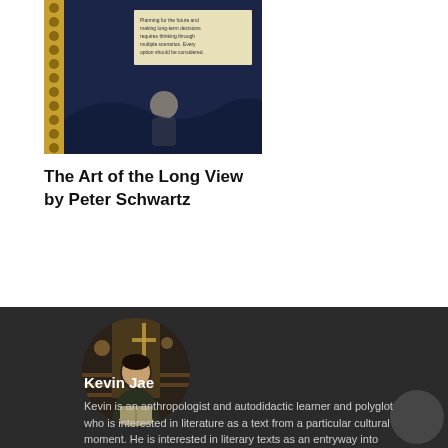[Figure (photo): Photo of a book cover for 'The Art of the Long View by Peter Schwartz' with a dark blue background, gold spine, a sticky note visible, and a faint human figure silhouette.]
The Art of the Long View
by Peter Schwartz
[Figure (photo): Circular profile photo of Kevin Jae, a man sitting and reading a book, in a library or bookstore setting with warm lights and a cross decoration visible in the background.]
Kevin Jae
Kevin is an anthropologist and autodidactic learner and polyglot who is interested in literature as a text from a particular cultural moment. He is interested in literary texts as an entryway into cultural understanding. Check out his bookstagram at: